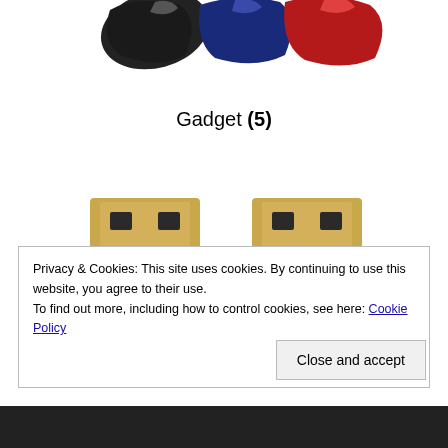[Figure (photo): Product photo showing three cable clips or cord organizers in black, blue, and red colors, viewed from above, partially cropped at top of page.]
Gadget (5)
[Figure (photo): Two black HDMI connector adapters with gold-plated connectors side by side on white background.]
Privacy & Cookies: This site uses cookies. By continuing to use this website, you agree to their use. To find out more, including how to control cookies, see here: Cookie Policy
Close and accept